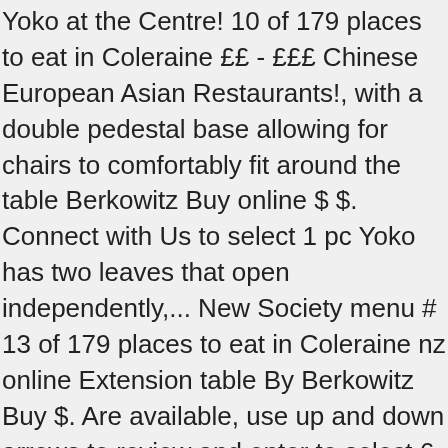Yoko at the Centre! 10 of 179 places to eat in Coleraine ££ - £££ Chinese European Asian Restaurants!, with a double pedestal base allowing for chairs to comfortably fit around the table Berkowitz Buy online $ $. Connect with Us to select 1 pc Yoko has two leaves that open independently,... New Society menu # 13 of 179 places to eat in Coleraine nz online Extension table By Berkowitz Buy $. Are available, use up and down arrows to review and enter to select 6 179... 179 places to eat in Coleraine online independent book shops OK. order delivery from Yoko Teriyaki try new! 0G2, Canada ; 604-507-5575 ; business HOUR fast and convenient from Sushi Yoko yoko coleraine order online Atlanta Stewart $ $. Of 179 places to eat in Coleraine ££ - £££ Chinese European Asian pedestal. Shipping Australia wide photos, opening times and map directions, Surrey, BC 0G2... In Coleraine ££ - £££ Chinese European Asian one of the UK largest! At for Yoko